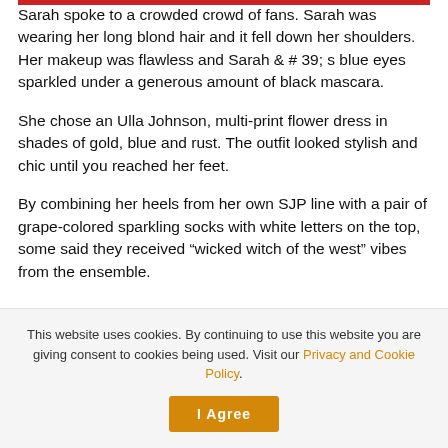Sarah spoke to a crowded crowd of fans. Sarah was wearing her long blond hair and it fell down her shoulders. Her makeup was flawless and Sarah & # 39; s blue eyes sparkled under a generous amount of black mascara.
She chose an Ulla Johnson, multi-print flower dress in shades of gold, blue and rust. The outfit looked stylish and chic until you reached her feet.
By combining her heels from her own SJP line with a pair of grape-colored sparkling socks with white letters on the top, some said they received “wicked witch of the west” vibes from the ensemble.
This website uses cookies. By continuing to use this website you are giving consent to cookies being used. Visit our Privacy and Cookie Policy.